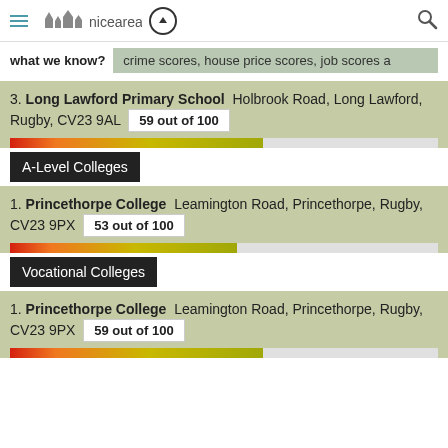niceareas
what we know?   crime scores, house price scores, job scores a
3. Long Lawford Primary School  Holbrook Road, Long Lawford, Rugby, CV23 9AL  59 out of 100
A-Level Colleges
1. Princethorpe College  Leamington Road, Princethorpe, Rugby, CV23 9PX  53 out of 100
Vocational Colleges
1. Princethorpe College  Leamington Road, Princethorpe, Rugby, CV23 9PX  59 out of 100